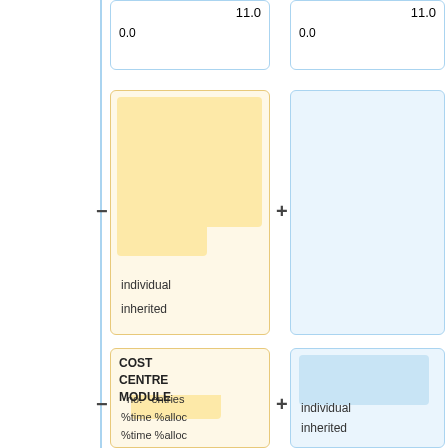[Figure (flowchart): Profiling diagram showing cost centre module nodes with individual/inherited labels, connected with + and - operators. Yellow boxes on the left and blue boxes on the right. Numbers 11.0 and 0.0 shown at top. Bottom boxes contain COST CENTRE MODULE with no. entries %time %alloc fields.]
11.0
0.0
11.0
0.0
individual
inherited
individual
inherited
COST CENTRE MODULE
no. entries %time %alloc %time %alloc
COST CENTRE MODULE
no. entries %time %alloc %time %alloc